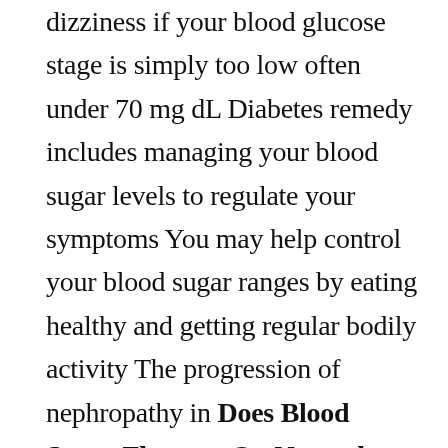dizziness if your blood glucose stage is simply too low often under 70 mg dL Diabetes remedy includes managing your blood sugar levels to regulate your symptoms You may help control your blood sugar ranges by eating healthy and getting regular bodily activity The progression of nephropathy in Does Blood Sugar Flucuate On Normal People sufferers may be considerably Does Blood Sugar Flucuate On Normal People slowed by controlling high blood pressure, and What Is Normal Blood Sugar by aggressively treating excessive blood sugar ranges.
Most low blood sugar stage causes are preventable and are caused because of a person s way of life and diet habits Low blood sugar is frequent amongst